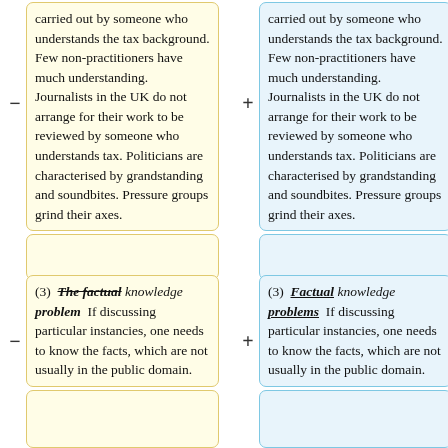carried out by someone who understands the tax background. Few non-practitioners have much understanding. Journalists in the UK do not arrange for their work to be reviewed by someone who understands tax. Politicians are characterised by grandstanding and soundbites. Pressure groups grind their axes.
carried out by someone who understands the tax background. Few non-practitioners have much understanding. Journalists in the UK do not arrange for their work to be reviewed by someone who understands tax. Politicians are characterised by grandstanding and soundbites. Pressure groups grind their axes.
(3) <i>The factual knowledge problem</i> If discussing particular instancies, one needs to know the facts, which are not usually in the public domain.
(3) <i>Factual knowledge problems</i> If discussing particular instancies, one needs to know the facts, which are not usually in the public domain.